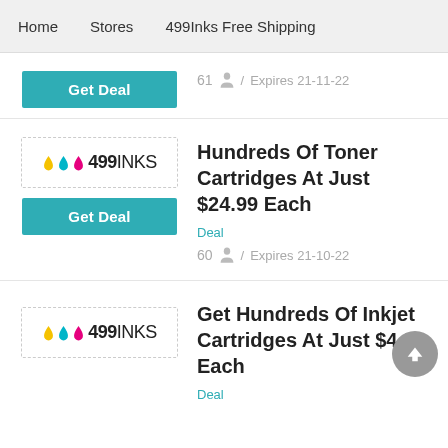Home   Stores   499Inks Free Shipping
61 / Expires 21-11-22
[Figure (logo): 499INKS logo with colored ink drops (yellow, cyan, magenta)]
Hundreds Of Toner Cartridges At Just $24.99 Each
Deal
60 / Expires 21-10-22
[Figure (logo): 499INKS logo with colored ink drops (yellow, cyan, magenta)]
Get Hundreds Of Inkjet Cartridges At Just $4.99 Each
Deal